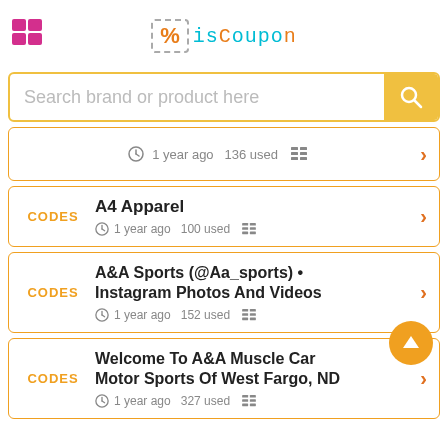[Figure (logo): isCoupon logo with dashed percent sign box and cyan/orange text]
Search brand or product here
1 year ago  136 used
CODES  A4 Apparel  1 year ago  100 used
CODES  A&A Sports (@Aa_sports) • Instagram Photos And Videos  1 year ago  152 used
CODES  Welcome To A&A Muscle Car Motor Sports Of West Fargo, ND  1 year ago  327 used